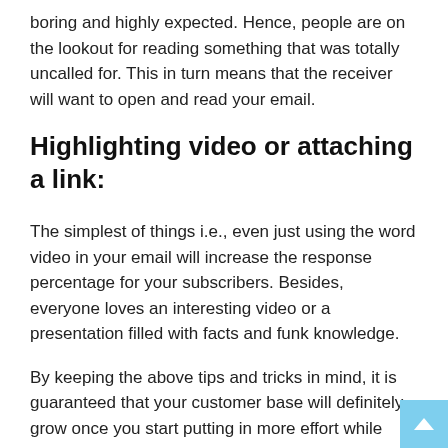boring and highly expected. Hence, people are on the lookout for reading something that was totally uncalled for. This in turn means that the receiver will want to open and read your email.
Highlighting video or attaching a link:
The simplest of things i.e., even just using the word video in your email will increase the response percentage for your subscribers. Besides, everyone loves an interesting video or a presentation filled with facts and funk knowledge.
By keeping the above tips and tricks in mind, it is guaranteed that your customer base will definitely grow once you start putting in more effort while